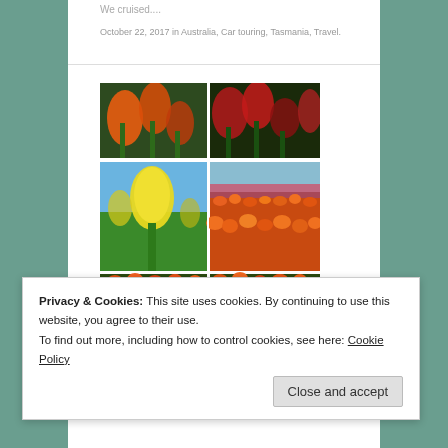We cruised....
October 22, 2017 in Australia, Car touring, Tasmania, Travel.
[Figure (photo): Collage of four tulip field photos showing colorful tulips in red, orange, yellow, and white against green foliage and blue sky]
Table Cape
Privacy & Cookies: This site uses cookies. By continuing to use this website, you agree to their use.
To find out more, including how to control cookies, see here: Cookie Policy
Close and accept